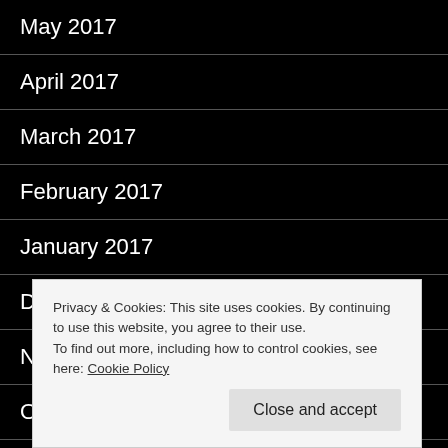May 2017
April 2017
March 2017
February 2017
January 2017
December 2016
November 2016
October 2016
September 2016
Privacy & Cookies: This site uses cookies. By continuing to use this website, you agree to their use.
To find out more, including how to control cookies, see here: Cookie Policy
Close and accept